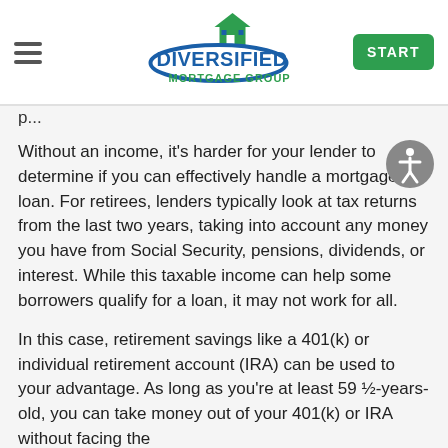Diversified Mortgage Group — START
Without an income, it's harder for your lender to determine if you can effectively handle a mortgage loan. For retirees, lenders typically look at tax returns from the last two years, taking into account any money you have from Social Security, pensions, dividends, or interest. While this taxable income can help some borrowers qualify for a loan, it may not work for all.
In this case, retirement savings like a 401(k) or individual retirement account (IRA) can be used to your advantage. As long as you're at least 59 ½-years-old, you can take money out of your 401(k) or IRA without facing the